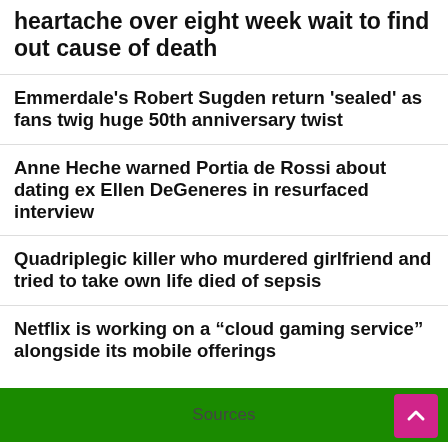heartache over eight week wait to find out cause of death
Emmerdale's Robert Sugden return 'sealed' as fans twig huge 50th anniversary twist
Anne Heche warned Portia de Rossi about dating ex Ellen DeGeneres in resurfaced interview
Quadriplegic killer who murdered girlfriend and tried to take own life died of sepsis
Netflix is working on a “cloud gaming service” alongside its mobile offerings
Sources
mirror.co.uk